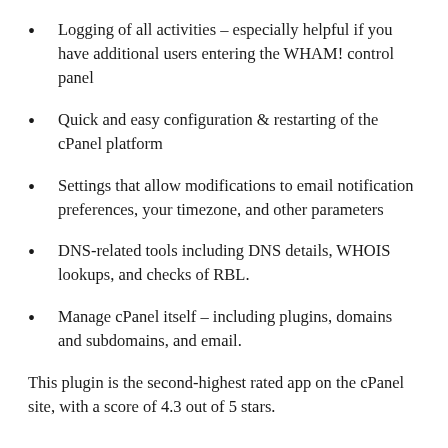Logging of all activities – especially helpful if you have additional users entering the WHAM! control panel
Quick and easy configuration & restarting of the cPanel platform
Settings that allow modifications to email notification preferences, your timezone, and other parameters
DNS-related tools including DNS details, WHOIS lookups, and checks of RBL.
Manage cPanel itself – including plugins, domains and subdomains, and email.
This plugin is the second-highest rated app on the cPanel site, with a score of 4.3 out of 5 stars.